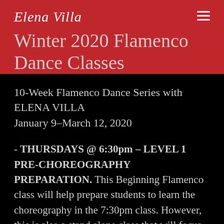Elena Villa
Winter 2020 Flamenco Dance Classes
10-Week Flamenco Dance Series with ELENA VILLA
January 9–March 12, 2020
- THURSDAYS @ 6:30pm – LEVEL 1  PRE-CHOREOGRAPHY PREPARATION. This Beginning Flamenco class will help prepare students to learn the choreography in the 7:30pm class. However, this is also a stand alone class that will focus on technique and drills:  arm & hand technique, basic footwork, body...